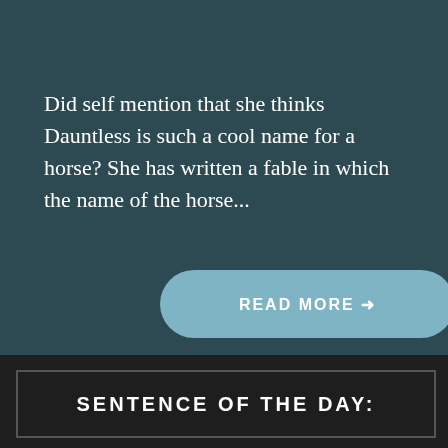Did self mention that she thinks Dauntless is such a cool name for a horse? She has written a fable in which the name of the horse...
READ MORE →
SENTENCE OF THE DAY: